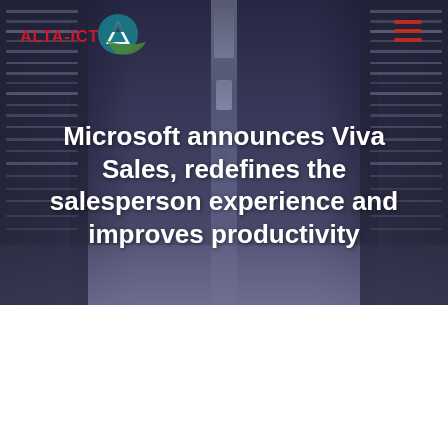[Figure (photo): Data center corridor with server racks on both sides, purple/blue toned lighting, overhead light strip running down the center aisle, viewed from one end looking inward]
ALTA-ICT
Microsoft announces Viva Sales, redefines the salesperson experience and improves productivity